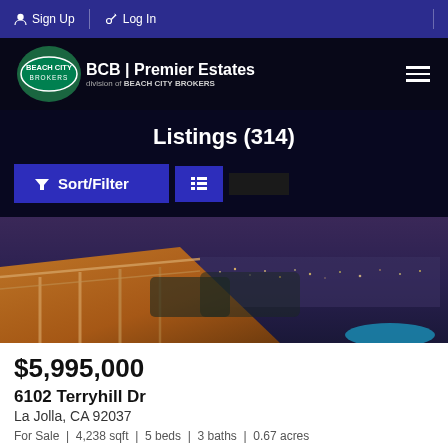Sign Up | Log In
[Figure (logo): Beach City Brokers logo with BCB | Premier Estates branding]
Listings (314)
Sort/Filter
[Figure (photo): Aerial dusk photo of a luxury home deck with city lights and pool in La Jolla, CA]
$5,995,000
6102 Terryhill Dr
La Jolla, CA 92037
For Sale   4,238 sqft   5 beds   3 baths   0.67 acres